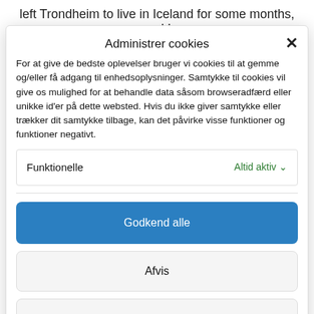left Trondheim to live in Iceland for some months, and I
Administrer cookies
For at give de bedste oplevelser bruger vi cookies til at gemme og/eller få adgang til enhedsoplysninger. Samtykke til cookies vil give os mulighed for at behandle data såsom browseradfærd eller unikke id'er på dette websted. Hvis du ikke giver samtykke eller trækker dit samtykke tilbage, kan det påvirke visse funktioner og funktioner negativt.
Funktionelle   Altid aktiv
Godkend alle
Afvis
Gem preferencer
Cookiepolitik  Privatlivspolitik